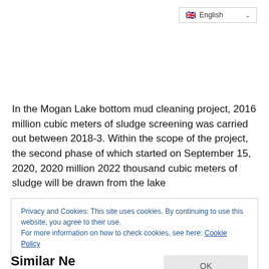English
In the Mogan Lake bottom mud cleaning project, 2016 million cubic meters of sludge screening was carried out between 2018-3. Within the scope of the project, the second phase of which started on September 15, 2020, 2020 million 2022 thousand cubic meters of sludge will be drawn from the lake
Privacy and Cookies: This site uses cookies. By continuing to use this website, you agree to their use.
For more information on how to check cookies, see here: Cookie Policy
Similar Ne...